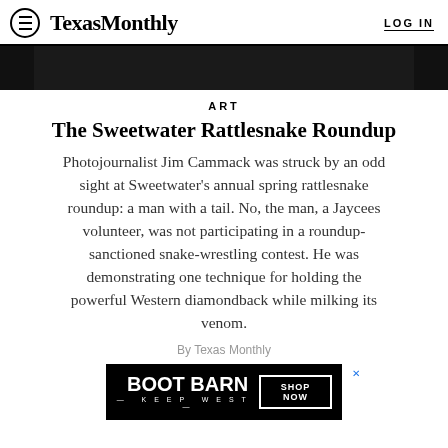TexasMonthly  LOG IN
[Figure (photo): Black image bar at top of article page]
ART
The Sweetwater Rattlesnake Roundup
Photojournalist Jim Cammack was struck by an odd sight at Sweetwater’s annual spring rattlesnake roundup: a man with a tail. No, the man, a Jaycees volunteer, was not participating in a roundup-sanctioned snake-wrestling contest. He was demonstrating one technique for holding the powerful Western diamondback while milking its venom.
By Texas Monthly
[Figure (photo): Boot Barn advertisement banner with SHOP NOW button]